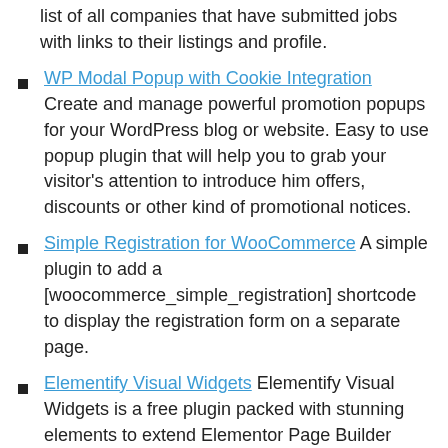list of all companies that have submitted jobs with links to their listings and profile.
WP Modal Popup with Cookie Integration Create and manage powerful promotion popups for your WordPress blog or website. Easy to use popup plugin that will help you to grab your visitor's attention to introduce him offers, discounts or other kind of promotional notices.
Simple Registration for WooCommerce A simple plugin to add a [woocommerce_simple_registration] shortcode to display the registration form on a separate page.
Elementify Visual Widgets Elementify Visual Widgets is a free plugin packed with stunning elements to extend Elementor Page Builder functionality and make your website look like it is designed by a Professional Web Designer.
Easy Digital Downloads – Frontend Submissions Product Details Specify and display frontend